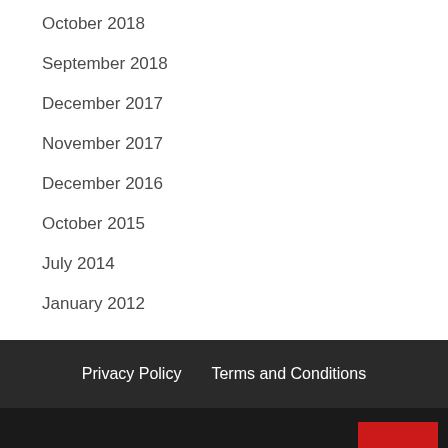October 2018
September 2018
December 2017
November 2017
December 2016
October 2015
July 2014
January 2012
Privacy Policy   Terms and Conditions
Copyright © All rights reserved.